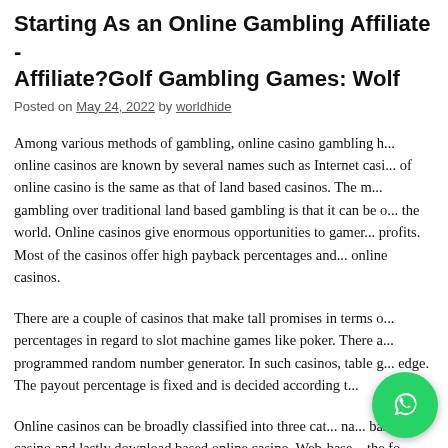Starting As an Online Gambling Affiliate - Affiliate?Golf Gambling Games: Wolf
Posted on May 24, 2022 by worldhide
Among various methods of gambling, online casino gambling h... online casinos are known by several names such as Internet casi... of online casino is the same as that of land based casinos. The m... gambling over traditional land based gambling is that it can be o... the world. Online casinos give enormous opportunities to gamer... profits. Most of the casinos offer high payback percentages and... online casinos.
There are a couple of casinos that make tall promises in terms o... percentages in regard to slot machine games like poker. There a... programmed random number generator. In such casinos, table g... edge. The payout percentage is fixed and is decided according t...
Online casinos can be broadly classified into three cat... na... based casino and lastly download based online casino. Web-base... the fo...